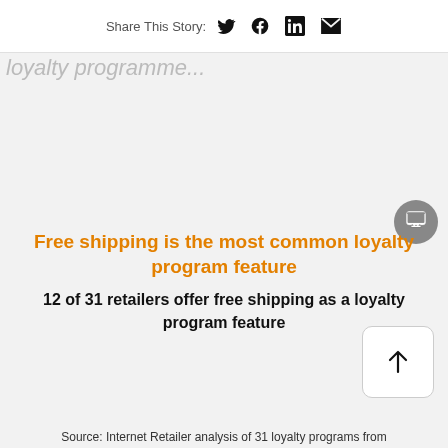Share This Story:
loyalty programme
Free shipping is the most common loyalty program feature
12 of 31 retailers offer free shipping as a loyalty program feature
Source: Internet Retailer analysis of 31 loyalty programs from